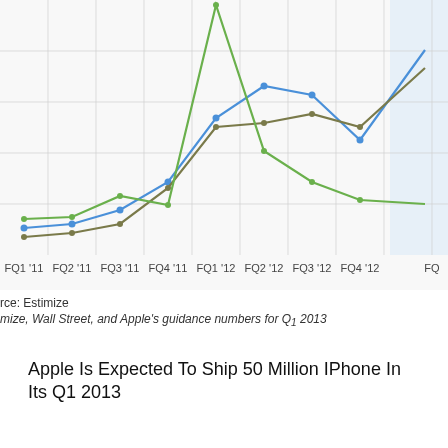[Figure (line-chart): iPhone shipment estimates]
rce: Estimize
mize, Wall Street, and Apple’s guidance numbers for Q1 2013
Apple Is Expected To Ship 50 Million IPhone In Its Q1 2013